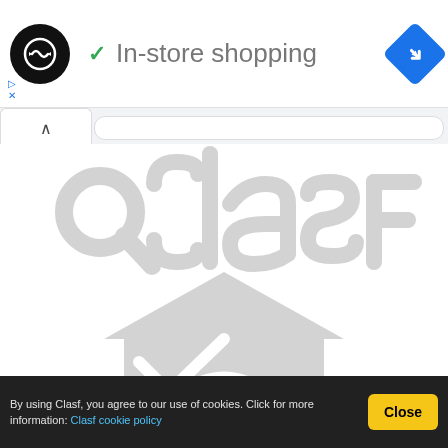[Figure (logo): Black circle logo with double-headed arrow infinity symbol in white, followed by green checkmark and text 'In-store shopping', and blue diamond navigation arrow on the right]
In-store shopping
[Figure (logo): Clasf website logo — large grey watermark showing 'Oclasf' text with magnifying glass and a house/building icon below]
By using Clasf, you agree to our use of cookies. Click for more information: Clasf cookie policy